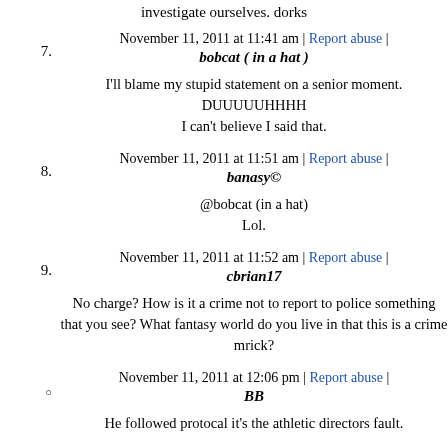investigate ourselves. dorks
November 11, 2011 at 11:41 am | Report abuse |
7. bobcat ( in a hat )
I'll blame my stupid statement on a senior moment.
DUUUUUHHHH
I can't believe I said that.
November 11, 2011 at 11:51 am | Report abuse |
8. banasy©
@bobcat (in a hat)
Lol.
November 11, 2011 at 11:52 am | Report abuse |
9. cbrian17
No charge? How is it a crime not to report to police something that you see? What fantasy world do you live in that this is a crime mrick?
November 11, 2011 at 12:06 pm | Report abuse |
○ BB
He followed protocal it's the athletic directors fault.